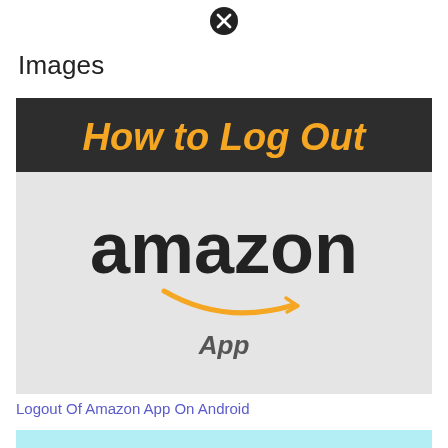[Figure (other): Close/cancel icon (circle with X) at top center of page]
Images
[Figure (illustration): Image showing 'How to Log Out' in orange italic bold text on dark banner, with Amazon logo (black text 'amazon' with orange arrow) on light gray background, and 'App' text in italic below the logo]
Logout Of Amazon App On Android
[Figure (illustration): Partial image visible at bottom with light blue background, showing beginning of another illustration]